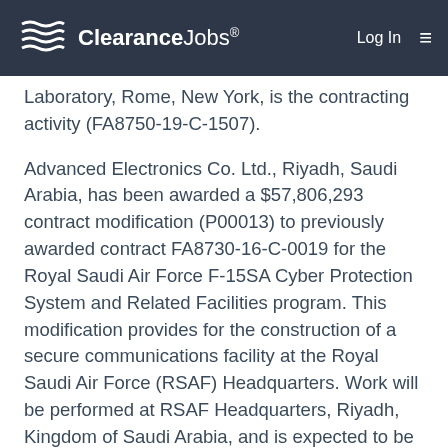ClearanceJobs® Log In ☰
Laboratory, Rome, New York, is the contracting activity (FA8750-19-C-1507).
Advanced Electronics Co. Ltd., Riyadh, Saudi Arabia, has been awarded a $57,806,293 contract modification (P00013) to previously awarded contract FA8730-16-C-0019 for the Royal Saudi Air Force F-15SA Cyber Protection System and Related Facilities program. This modification provides for the construction of a secure communications facility at the Royal Saudi Air Force (RSAF) Headquarters. Work will be performed at RSAF Headquarters, Riyadh, Kingdom of Saudi Arabia, and is expected to be completed by July 31, 2022. This contract involves foreign military sales to Saudi Arabia